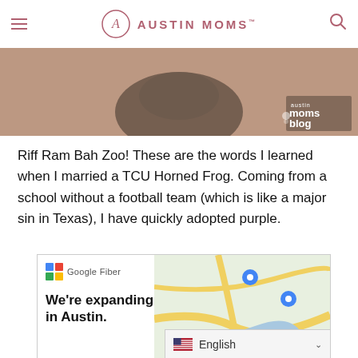Austin Moms
[Figure (photo): Hero image showing children, with Austin Moms Blog overlay logo in bottom right]
Riff Ram Bah Zoo! These are the words I learned when I married a TCU Horned Frog. Coming from a school without a football team (which is like a major sin in Texas), I have quickly adopted purple.
[Figure (screenshot): Google Fiber advertisement showing a map of Austin with location pins and text 'We're expanding in Austin.' alongside Google Fiber logo]
English